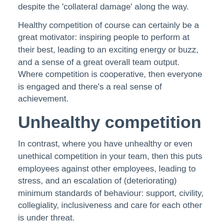despite the ‘collateral damage’ along the way.
Healthy competition of course can certainly be a great motivator: inspiring people to perform at their best, leading to an exciting energy or buzz, and a sense of a great overall team output. Where competition is cooperative, then everyone is engaged and there’s a real sense of achievement.
Unhealthy competition
In contrast, where you have unhealthy or even unethical competition in your team, then this puts employees against other employees, leading to stress, and an escalation of (deteriorating) minimum standards of behaviour: support, civility, collegiality, inclusiveness and care for each other is under threat.
Not only is there people risk, there’s also dangers to the culture around the ethical and/or compliance risks that staff may take to achieve KPIs.